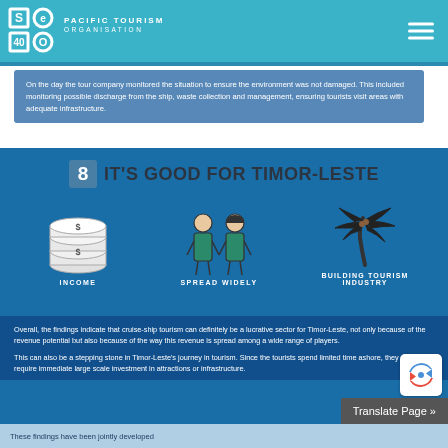PACIFIC TOURISM ORGANISATION
On the day the tour company monitored the situation to ensure the environment was not damaged. This included monitoring possible discharge from the ship, waste collection and management, ensuring tourists visit areas with adequate infrastructure.
8 IT'S GOOD FOR TIMOR-LESTE
[Figure (infographic): Three icons: stacked dollar coins labeled INCOME, two people figures labeled SPREAD WIDELY, and a palm tree labeled BUILDING TOURISM INDUSTRY]
Overall, the findings indicate that cruise-ship tourism can definitely be a lucrative sector for Timor-Leste, not only because of the revenue potential but also because of the way this revenue is spread among a wide range of players.
This can also be a stepping stone in Timor-Leste's journey in tourism. Since the tourists spend limited time ashore, they don't require immediate large scale investment in attractions or infrastructure.
These findings have been jointly developed